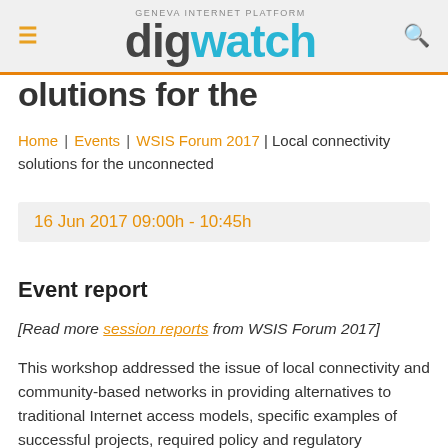digwatch – Geneva Internet Platform
…olutions for the…
Home | Events | WSIS Forum 2017 | Local connectivity solutions for the unconnected
16 Jun 2017 09:00h - 10:45h
Event report
[Read more session reports from WSIS Forum 2017]
This workshop addressed the issue of local connectivity and community-based networks in providing alternatives to traditional Internet access models, specific examples of successful projects, required policy and regulatory frameworks, and solutions for enabling local connectivity and